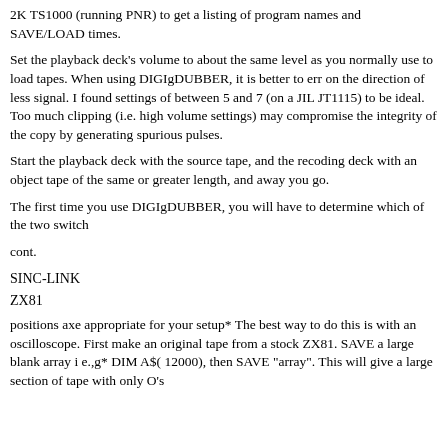2K TS1000 (running PNR) to get a listing of program names and SAVE/LOAD times.
Set the playback deck's volume to about the same level as you normally use to load tapes. When using DIGIgDUBBER, it is better to err on the direction of less signal. I found settings of between 5 and 7 (on a JIL JT1115) to be ideal. Too much clipping (i.e. high volume settings) may compromise the integrity of the copy by generating spurious pulses.
Start the playback deck with the source tape, and the recoding deck with an object tape of the same or greater length, and away you go.
The first time you use DIGIgDUBBER, you will have to determine which of the two switch
cont.
SINC-LINK
ZX81
positions axe appropriate for your setup* The best way to do this is with an oscilloscope. First make an original tape from a stock ZX81. SAVE a large blank array i e.,g* DIM A$( 12000), then SAVE "array". This will give a large section of tape with only O's